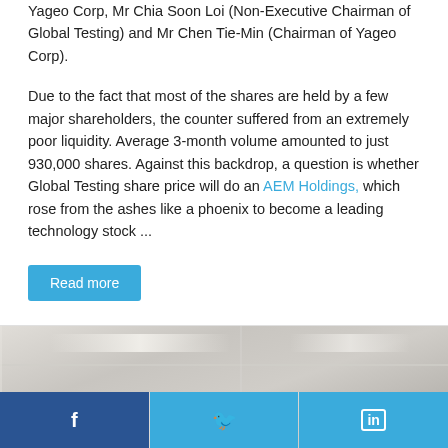Yageo Corp, Mr Chia Soon Loi (Non-Executive Chairman of Global Testing) and Mr Chen Tie-Min (Chairman of Yageo Corp).
Due to the fact that most of the shares are held by a few major shareholders, the counter suffered from an extremely poor liquidity. Average 3-month volume amounted to just 930,000 shares. Against this backdrop, a question is whether Global Testing share price will do an AEM Holdings, which rose from the ashes like a phoenix to become a leading technology stock ...
Read more
[Figure (photo): Photograph of an office ceiling with fluorescent lighting strips and ceiling tiles, partially cropped.]